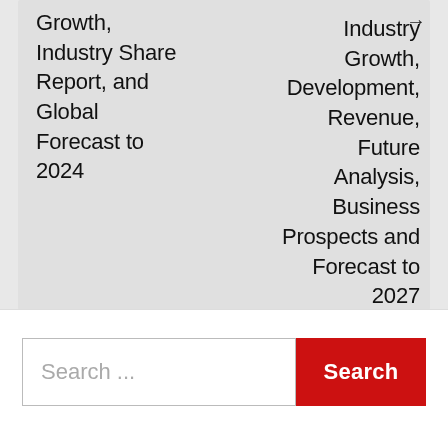Growth, Industry Share Report, and Global Forecast to 2024
Industry Growth, Development, Revenue, Future Analysis, Business Prospects and Forecast to 2027
Search ...
Search